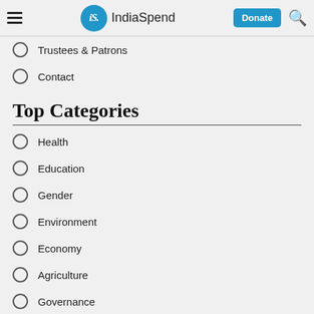IndiaSpend — Donate
Trustees & Patrons
Contact
Top Categories
Health
Education
Gender
Environment
Economy
Agriculture
Governance
India Governance Report
Special Projects